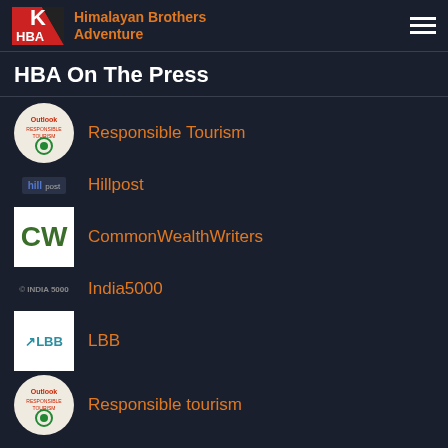Himalayan Brothers Adventure
HBA On The Press
Responsible Tourism
Hillpost
CommonWealthWriters
India5000
LBB
Responsible tourism
Hillpost